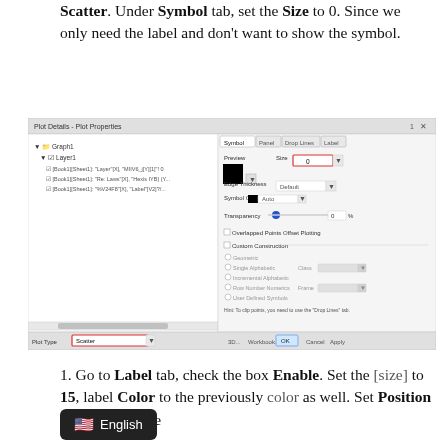Scatter. Under Symbol tab, set the Size to 0. Since we only need the label and don't want to show the symbol.
[Figure (screenshot): Screenshot of Plot Details - Plot Properties dialog window showing Symbol tab with Size field highlighted in red set to 0, and Plot Type set to Scatter highlighted in red at the bottom.]
1. Go to Label tab, check the box Enable. Set the [size] to 15, label Color to the previously [selected] color as well. Set Position to Above. Make [sure...]